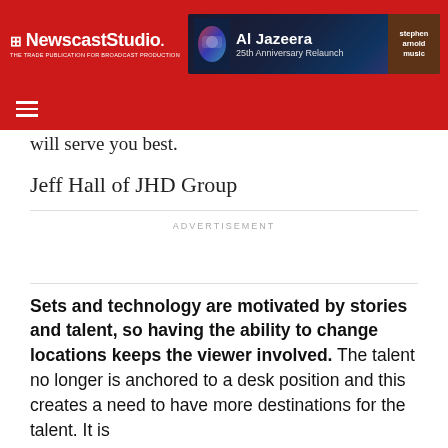NewscastStudio — THE TRADE PUBLICATION FOR BROADCAST PRODUCTION
[Figure (other): Al Jazeera 25th Anniversary Relaunch advertisement banner with Stephen Arnold Music badge]
will serve you best.
Jeff Hall of JHD Group
ADVERTISEMENT
Sets and technology are motivated by stories and talent, so having the ability to change locations keeps the viewer involved. The talent no longer is anchored to a desk position and this creates a need to have more destinations for the talent. It is